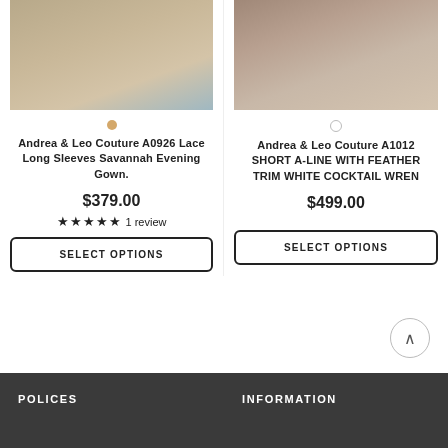[Figure (photo): Product photo of a floral beaded evening gown, left column]
[Figure (photo): Product photo showing embellished heels on wood floor, right column]
Andrea & Leo Couture A0926 Lace Long Sleeves Savannah Evening Gown.
$379.00
★★★★★ 1 review
SELECT OPTIONS
Andrea & Leo Couture A1012 SHORT A-LINE WITH FEATHER TRIM WHITE COCKTAIL WREN
$499.00
SELECT OPTIONS
POLICES    INFORMATION